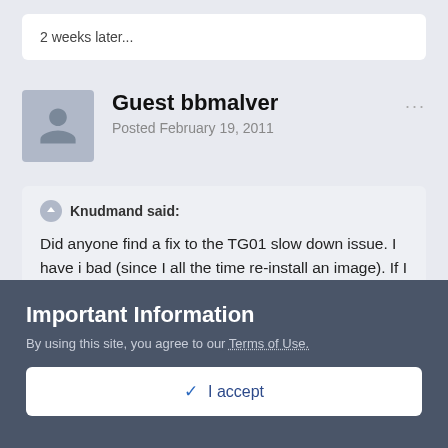2 weeks later...
Guest bbmalver
Posted February 19, 2011
Knudmand said:
Did anyone find a fix to the TG01 slow down issue. I have i bad (since I all the time re-install an image). If I leave the thing untuched it is ok, but if I reinstall a back-up, (Sprite Backup or SPB Backup) or if I change the SD card i get the problem. It is very hard to find the problem, and reset,
Important Information
By using this site, you agree to our Terms of Use.
✓ I accept